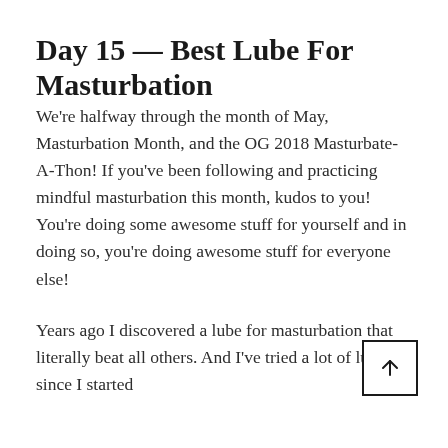Day 15 — Best Lube For Masturbation
We're halfway through the month of May, Masturbation Month, and the OG 2018 Masturbate-A-Thon! If you've been following and practicing mindful masturbation this month, kudos to you! You're doing some awesome stuff for yourself and in doing so, you're doing awesome stuff for everyone else!
Years ago I discovered a lube for masturbation that literally beat all others. And I've tried a lot of lubes since I started with two cents to clean up after?